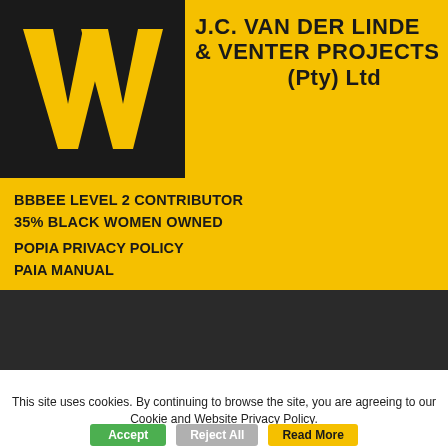[Figure (logo): J.C. Van der Linde & Venter Projects (Pty) Ltd company logo with yellow VV monogram on black background and company name text on yellow banner]
BBBEE LEVEL 2 CONTRIBUTOR
35% BLACK WOMEN OWNED
POPIA PRIVACY POLICY
PAIA MANUAL
Select Page
AFCI-The-Woodlands-
This site uses cookies. By continuing to browse the site, you are agreeing to our Cookie and Website Privacy Policy.